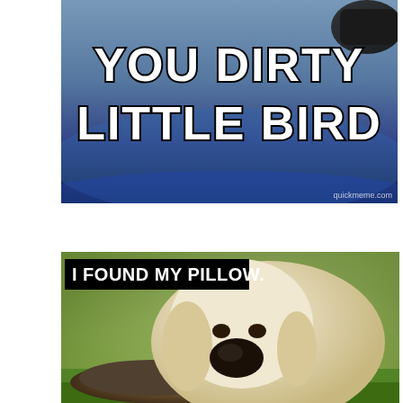[Figure (photo): Meme image showing a car with bird dropping on it with text 'YOU DIRTY LITTLE BIRD' and quickmeme.com watermark]
[Figure (photo): Meme image of a puppy resting its head on a cat lying in grass, with text label 'I FOUND MY PILLOW.']